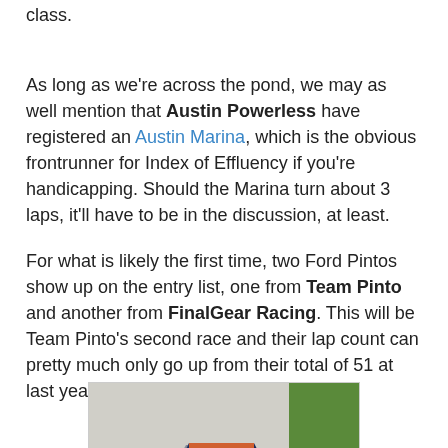class.
As long as we're across the pond, we may as well mention that Austin Powerless have registered an Austin Marina, which is the obvious frontrunner for Index of Effluency if you're handicapping. Should the Marina turn about 3 laps, it'll have to be in the discussion, at least.
For what is likely the first time, two Ford Pintos show up on the entry list, one from Team Pinto and another from FinalGear Racing. This will be Team Pinto's second race and their lap count can pretty much only go up from their total of 51 at last year's Capitol Offense.
[Figure (photo): A dark blue racing car (Ford Pinto or similar small hatchback) with racing livery and number 151, photographed on track with grass borders visible.]